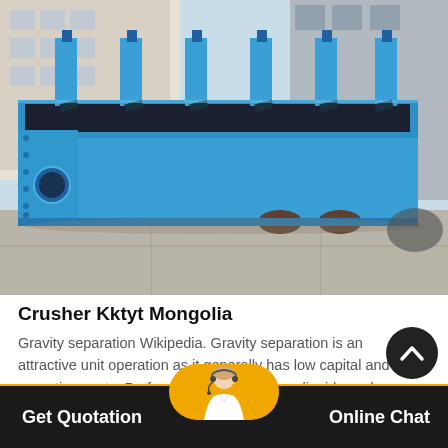[Figure (photo): Large blue industrial flotation machine / crusher equipment photographed outdoors on a concrete surface in a factory yard. The machine is painted bright blue and has multiple vertical intake columns along its top.]
Crusher Kktyt Mongolia
Gravity separation Wikipedia. Gravity separation is an attractive unit operation as it generally has low capital and operating costs, Preferential flotation Heavy liquids such as…
Get Quotation
Online Chat